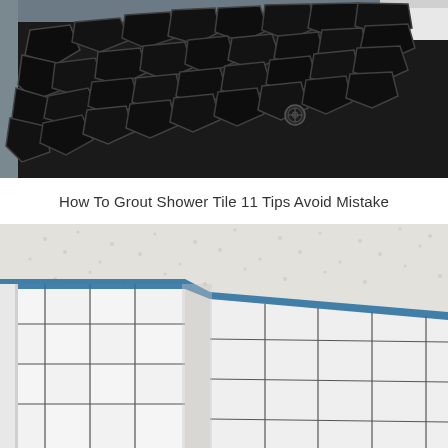[Figure (photo): Top-down view of a dark black mosaic/pebble tile shower floor with a drain visible in the center-right area. The tiles have an irregular crackle/organic pattern in black and dark gray.]
How To Grout Shower Tile 11 Tips Avoid Mistake
[Figure (photo): Interior corner of a bathroom or shower with white rectangular tiles arranged vertically on two walls meeting at a corner. Blue painter's tape is applied along the top edge where the tiles meet the white textured ceiling. The tiles have thin dark grout lines.]